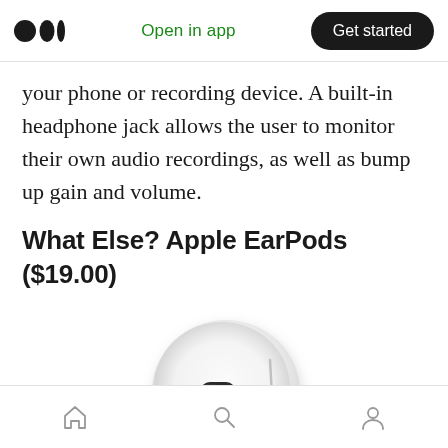Medium app header with logo, Open in app, Get started button
your phone or recording device. A built-in headphone jack allows the user to monitor their own audio recordings, as well as bump up gain and volume.
What Else? Apple EarPods ($19.00)
[Figure (photo): Apple EarPods white earphone close-up showing the earbud with speaker grille and stem with wire]
Bottom navigation bar with home, search, and profile icons